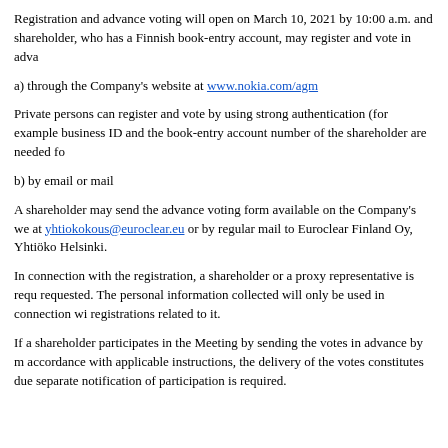Registration and advance voting will open on March 10, 2021 by 10:00 a.m. and shareholder, who has a Finnish book-entry account, may register and vote in adva
a) through the Company’s website at www.nokia.com/agm
Private persons can register and vote by using strong authentication (for example business ID and the book-entry account number of the shareholder are needed fo
b) by email or mail
A shareholder may send the advance voting form available on the Company’s we at yhtiokokous@euroclear.eu or by regular mail to Euroclear Finland Oy, Yhtiökö Helsinki.
In connection with the registration, a shareholder or a proxy representative is requ requested. The personal information collected will only be used in connection wi registrations related to it.
If a shareholder participates in the Meeting by sending the votes in advance by m accordance with applicable instructions, the delivery of the votes constitutes due separate notification of participation is required.